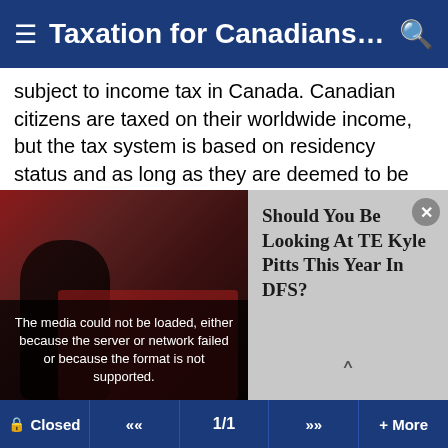≡  Taxation for Canadians working ...  🔍
subject to income tax in Canada. Canadian citizens are taxed on their worldwide income, but the tax system is based on residency status and as long as they are deemed to be Canadian residents for income tax purpose they must report their US income in Canadian tax return and pay any tax if due. It is not that easy to become non-resident for tax purposes - decision is made by Revenue Canada after you submit application to become non-resident.
You're a deemed resident of Canada for tax purposes if you:
[Figure (screenshot): Sports photo showing athlete silhouette against red crowd background with media error overlay: 'The media could not be loaded, either because the server or network failed or because the format is not supported.']
[Figure (infographic): Ad panel with text: 'Should You Be Looking At TE Kyle Pitts This Year In DFS?' with close button and down arrow]
🔒 Closed   «   1/1   »   + More